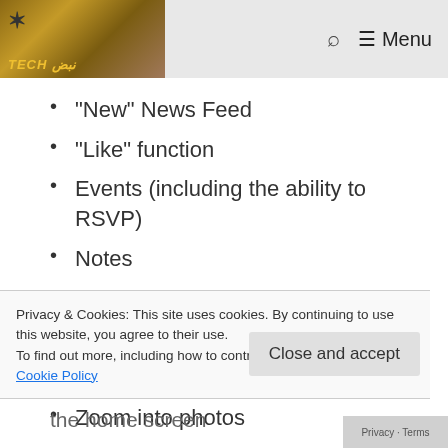TECH [logo] | Search | Menu
“New” News Feed
“Like” function
Events (including the ability to RSVP)
Notes
Pages
Create new photo albums
Upload photos to any album
Zoom into photos
Privacy & Cookies: This site uses cookies. By continuing to use this website, you agree to their use.
To find out more, including how to control cookies, see here:
Cookie Policy
Close and accept
the home screen
Better Notifications (they link to the